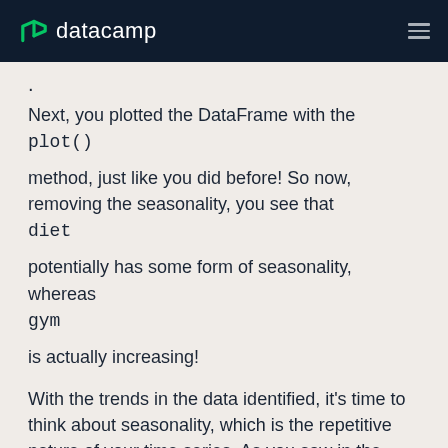datacamp
.
Next, you plotted the DataFrame with the plot() method, just like you did before! So now, removing the seasonality, you see that diet potentially has some form of seasonality, whereas gym is actually increasing!
With the trends in the data identified, it's time to think about seasonality, which is the repetitive nature of your time series. As you saw in the beginning of this tutorial, it looked like there were trends and seasonal components to the time series of the data.